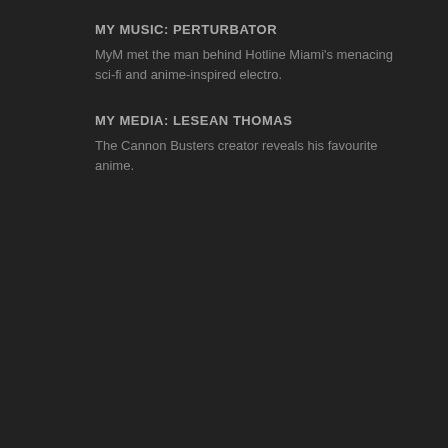MY MUSIC: PERTURBATOR
MyM met the man behind Hotline Miami's menacing sci-fi and anime-inspired electro.
MY MEDIA: LESEAN THOMAS
The Cannon Busters creator reveals his favourite anime.